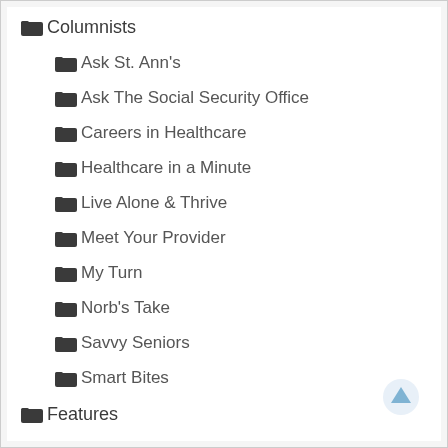Columnists
Ask St. Ann's
Ask The Social Security Office
Careers in Healthcare
Healthcare in a Minute
Live Alone & Thrive
Meet Your Provider
My Turn
Norb's Take
Savvy Seniors
Smart Bites
Features
Golden Years
Health News